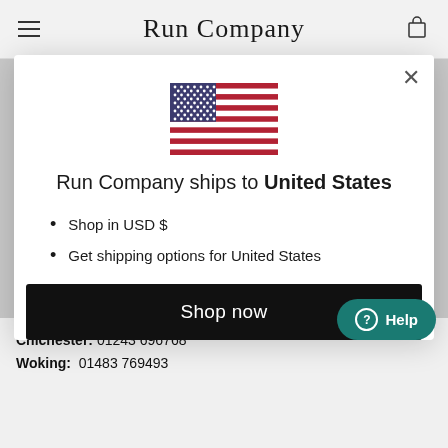Run Company
[Figure (illustration): US flag SVG illustration]
Run Company ships to United States
Shop in USD $
Get shipping options for United States
Shop now
Change shipping country
Chichester: 01243 696768
Woking: 01483 769493